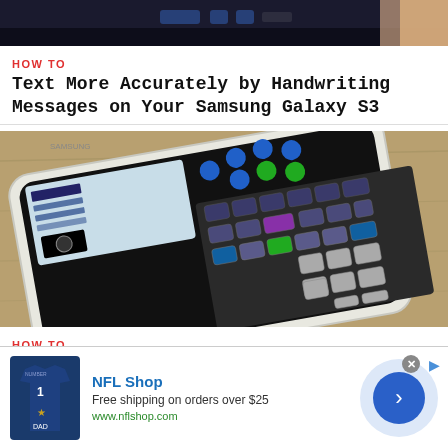[Figure (photo): Top cropped photo of a smartphone screen with UI elements visible]
HOW TO
Text More Accurately by Handwriting Messages on Your Samsung Galaxy S3
[Figure (photo): Samsung Galaxy S3 smartphone with a scientific calculator keyboard app displayed on screen, resting on a wooden surface]
HOW TO
Turn Your Samsung Galaxy S3 into a Powerful TI-89 Titanium
[Figure (screenshot): NFL Shop advertisement banner: shirt image, NFL Shop text, Free shipping on orders over $25, www.nflshop.com, blue circle arrow button]